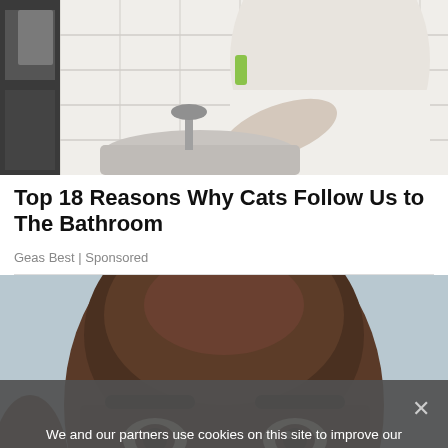[Figure (photo): Person washing hands at a bathroom sink, white tile background, person wearing white t-shirt]
Top 18 Reasons Why Cats Follow Us to The Bathroom
Geas Best | Sponsored
[Figure (photo): Close-up of a bald man's face with intense eyes, light blue background]
We and our partners use cookies on this site to improve our service, perform analytics, personalize advertising, measure advertising performance, and remember website preferences.